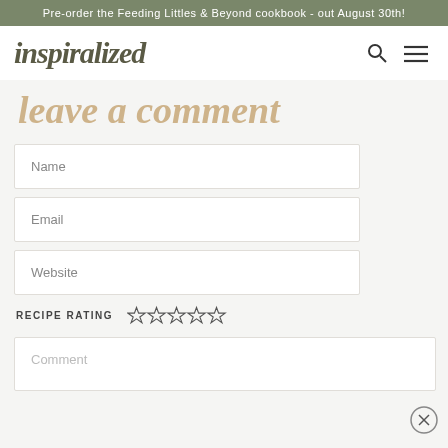Pre-order the Feeding Littles & Beyond cookbook - out August 30th!
inspiralized
leave a comment
Name
Email
Website
RECIPE RATING
[Figure (other): Five empty star rating icons]
Comment